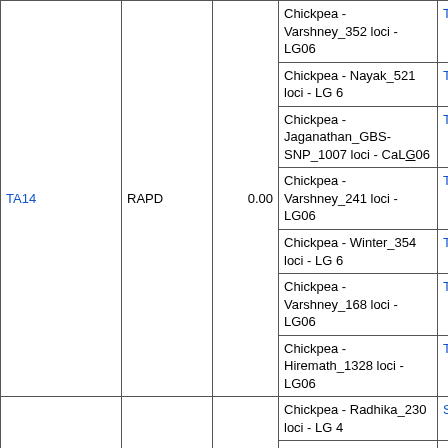| Marker | Type | Value | Reference Map | Linked Marker |
| --- | --- | --- | --- | --- |
| TA14 | RAPD | 0.00 | Chickpea - Varshney_352 loci - LG06 | TA14 |
|  |  |  | Chickpea - Nayak_521 loci - LG 6 | TA14 |
|  |  |  | Chickpea - Jaganathan_GBS-SNP_1007 loci - CaLG06 | TA14 |
|  |  |  | Chickpea - Varshney_241 loci - LG06 | TA14 |
|  |  |  | Chickpea - Winter_354 loci - LG 6 | TA14 |
|  |  |  | Chickpea - Varshney_168 loci - LG06 | TA14 |
|  |  |  | Chickpea - Hiremath_1328 loci - LG06 | TA14 |
|  |  |  | Chickpea - Radhika_230 loci - LG 4 | STMS15 |
|  |  |  | Chickpea - Winter_354 loci - LG 6 | STMS15 |